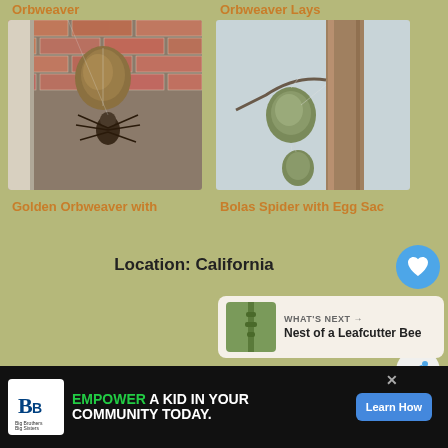Orbweaver
Orbweaver Lays
[Figure (photo): Golden Orbweaver spider with egg sac against brick wall]
[Figure (photo): Bolas Spider with egg sac hanging from wire or branch]
Golden Orbweaver with
Bolas Spider with Egg Sac
Location: California
[Figure (illustration): Heart/like button - blue circle with heart icon]
1
[Figure (illustration): Share button - light circle with share icon]
WHAT'S NEXT → Nest of a Leafcutter Bee
[Figure (photo): Advertisement: Big Brothers Big Sisters - Empower a kid in your community today. Learn How.]